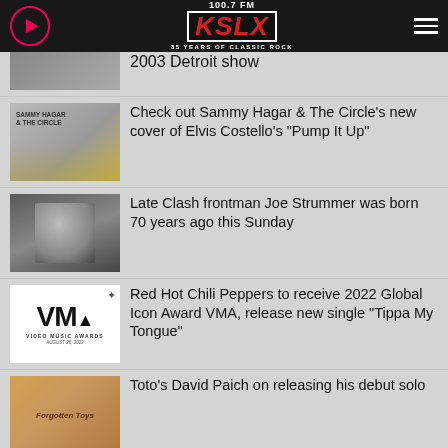100.7 FM KSLX — 35 YEARS OF CLASSIC ROCK
2003 Detroit show
Check out Sammy Hagar & The Circle's new cover of Elvis Costello's "Pump It Up"
Late Clash frontman Joe Strummer was born 70 years ago this Sunday
Red Hot Chili Peppers to receive 2022 Global Icon Award VMA, release new single "Tippa My Tongue"
Toto's David Paich on releasing his debut solo